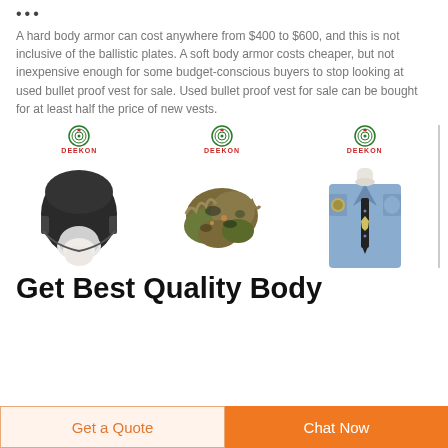•••
A hard body armor can cost anywhere from $400 to $600, and this is not inclusive of the ballistic plates. A soft body armor costs cheaper, but not inexpensive enough for some budget-conscious buyers to stop looking at used bullet proof vest for sale. Used bullet proof vest for sale can be bought for at least half the price of new vests.
[Figure (photo): Three product photos from DEEKON brand: a tactical helmet on a mannequin head, a camouflage scarf/sniper veil, and a police-style light blue uniform shirt with badge and tie on a mannequin.]
Get Best Quality Body
Get a Quote
Chat Now